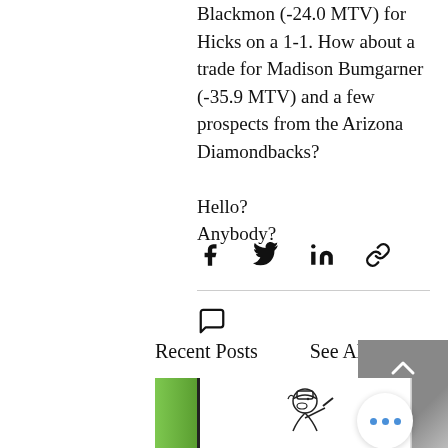Blackmon (-24.0 MTV) for Hicks on a 1-1. How about a trade for Madison Bumgarner (-35.9 MTV) and a few prospects from the Arizona Diamondbacks? Hello? Anybody?
[Figure (screenshot): Social media share icons: Facebook, Twitter, LinkedIn, and link/chain icon]
[Figure (screenshot): Comment/speech bubble icon]
Recent Posts
See All
[Figure (photo): Thumbnail images row: green plant/grass on left, cartoon baseball player in center, road/pavement on right with scroll-up button and more (three dots) button overlay]